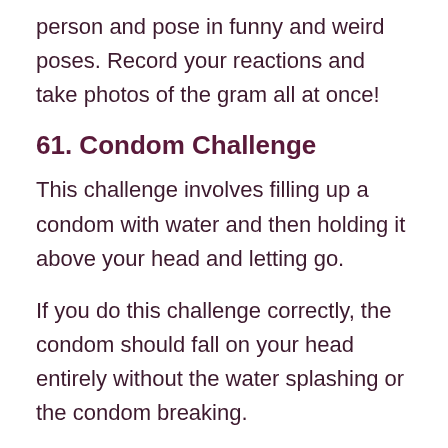person and pose in funny and weird poses. Record your reactions and take photos of the gram all at once!
61. Condom Challenge
This challenge involves filling up a condom with water and then holding it above your head and letting go.
If you do this challenge correctly, the condom should fall on your head entirely without the water splashing or the condom breaking.